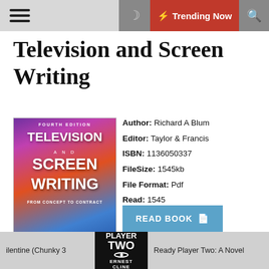≡  🌙  ⚡ Trending Now  🔍
Television and Screen Writing
[Figure (illustration): Book cover of Television and Screen Writing, Fourth Edition by Richard A. Blum, published by Taylor & Francis (Focal Press). Colorful abstract background with title text in white.]
Author: Richard A Blum
Editor: Taylor & Francis
ISBN: 1136050337
FileSize: 1545kb
File Format: Pdf
Read: 1545
READ BOOK
Television and Screen Writing by Richard A Blum Summary
ilentine (Chunky 3   Player Two Ernest Cline   Ready Player Two: A Novel